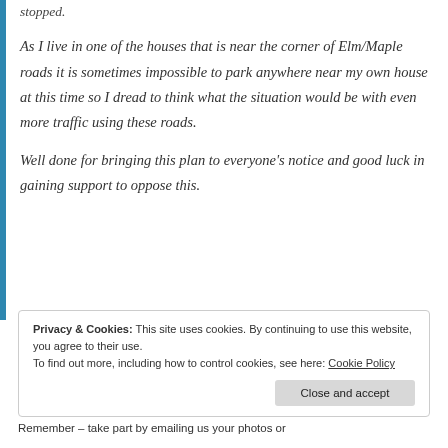stopped.
As I live in one of the houses that is near the corner of Elm/Maple roads it is sometimes impossible to park anywhere near my own house at this time so I dread to think what the situation would be with even more traffic using these roads.
Well done for bringing this plan to everyone's notice and good luck in gaining support to oppose this.
Privacy & Cookies: This site uses cookies. By continuing to use this website, you agree to their use.
To find out more, including how to control cookies, see here: Cookie Policy
Close and accept
Remember – take part by emailing us your photos or